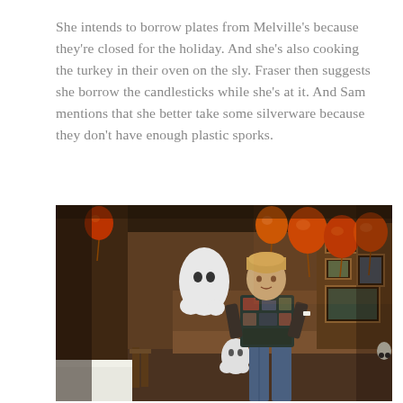She intends to borrow plates from Melville's because they're closed for the holiday. And she's also cooking the turkey in their oven on the sly. Fraser then suggests she borrow the candlesticks while she's at it. And Sam mentions that she better take some silverware because they don't have enough plastic sporks.
[Figure (photo): A man in a colorful patterned sweater stands in a bar/restaurant decorated with orange balloons and Halloween ghost decorations. The interior has wooden furniture, framed pictures on walls, and a festive holiday atmosphere.]